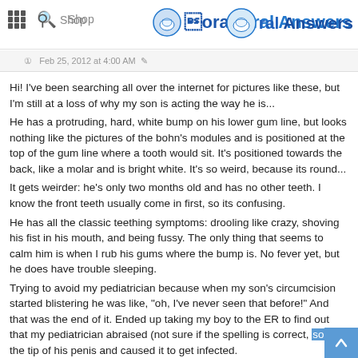Oral Answers
Feb 25, 2012 at 4:00 AM
Hi! I've been searching all over the internet for pictures like these, but I'm still at a loss of why my son is acting the way he is...
He has a protruding, hard, white bump on his lower gum line, but looks nothing like the pictures of the bohn's modules and is positioned at the top of the gum line where a tooth would sit. It's positioned towards the back, like a molar and is bright white. It's so weird, because its round...
It gets weirder: he's only two months old and has no other teeth. I know the front teeth usually come in first, so its confusing.
He has all the classic teething symptoms: drooling like crazy, shoving his fist in his mouth, and being fussy. The only thing that seems to calm him is when I rub his gums where the bump is. No fever yet, but he does have trouble sleeping.
Trying to avoid my pediatrician because when my son's circumcision started blistering he was like, "oh, I've never seen that before!" And that was the end of it. Ended up taking my boy to the ER to find out that my pediatrician abraised (not sure if the spelling is correct, sorry) the tip of his penis and caused it to get infected.